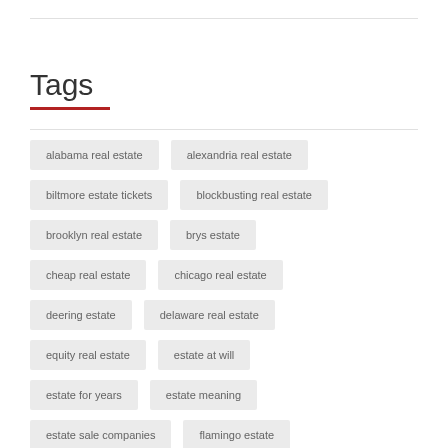Tags
alabama real estate
alexandria real estate
biltmore estate tickets
blockbusting real estate
brooklyn real estate
brys estate
cheap real estate
chicago real estate
deering estate
delaware real estate
equity real estate
estate at will
estate for years
estate meaning
estate sale companies
flamingo estate